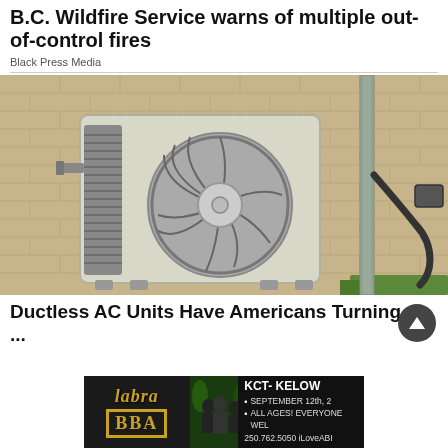B.C. Wildfire Service warns of multiple out-of-control fires
Black Press Media
[Figure (photo): Outdoor ductless mini-split AC unit (heat pump) mounted on a beige/tan brick wall, with a metal conduit pipe running vertically and a dark electrical cable connecting to a junction box on the wall. Green grass visible at bottom right.]
Ductless AC Units Have Americans Turning ...
[Figure (photo): Advertisement banner: Left side shows 'labra BBA' text in gold on dark background. Middle shows three performers (band photo). Right side shows 'KCT- KELOW' text with event details: SEPTEMBER 12th, ALL AGES! EVERYONE WEL, 250.762.5050 ILoveABI]